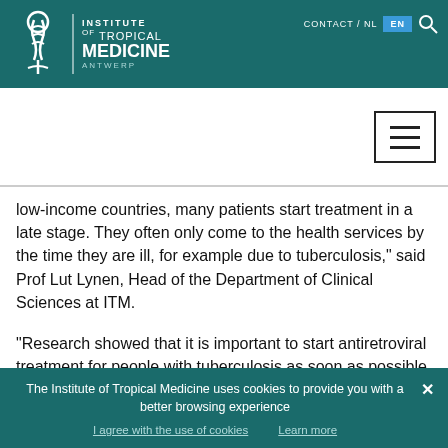[Figure (logo): Institute of Tropical Medicine Antwerp logo with navigation bar (teal background, white logo and text, EN language selector, search icon)]
low-income countries, many patients start treatment in a late stage. They often only come to the health services by the time they are ill, for example due to tuberculosis," said Prof Lut Lynen, Head of the Department of Clinical Sciences at ITM.
"Research showed that it is important to start antiretroviral treatment for people with tuberculosis as soon as possible, especially when their immune system is very weak. Unfortunately, it is precisely these people who have a higher
The Institute of Tropical Medicine uses cookies to provide you with a better browsing experience
I agree with the use of cookies    Learn more